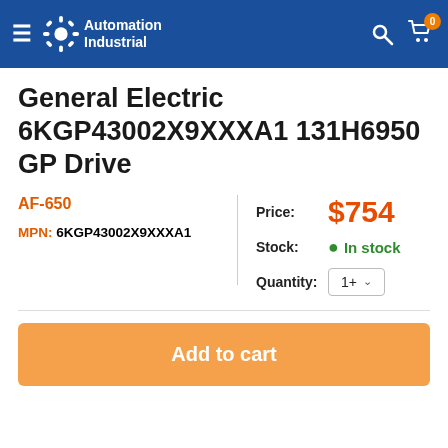Automation Industrial
General Electric 6KGP43002X9XXXA1 131H6950 GP Drive
AF-650
MPN: 6KGP43002X9XXXA1
Price: $754
Stock: In stock
Quantity: 1+
Add to cart